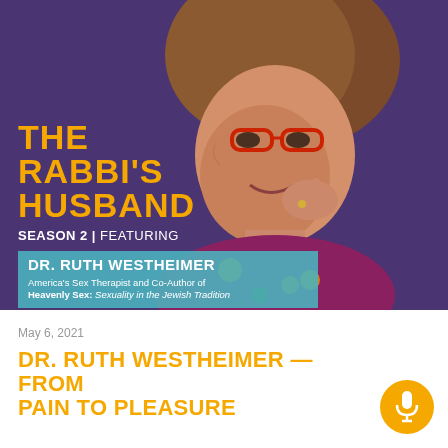[Figure (photo): Elderly woman with red glasses and curly brown hair, smiling warmly, wearing a floral top, posed against a purple background. Podcast cover art for 'The Rabbi's Husband' Season 2 featuring Dr. Ruth Westheimer.]
THE RABBI'S HUSBAND
SEASON 2 | FEATURING
DR. RUTH WESTHEIMER
America's Sex Therapist and Co-Author of Heavenly Sex: Sexuality in the Jewish Tradition
May 6, 2021
Dr. Ruth Westheimer — From Pain to Pleasure